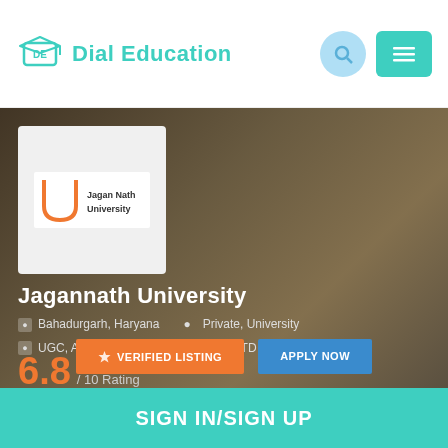[Figure (logo): Dial Education logo with graduation cap icon and teal text]
[Figure (screenshot): Jagannath University profile page screenshot with university building background]
Jagannath University
Bahadurgarh, Haryana   Private, University
UGC, AIU, BCI, NCTE, COA   ESTD 2013
6.8 / 10 Rating
VERIFIED LISTING
APPLY NOW
SIGN IN/SIGN UP